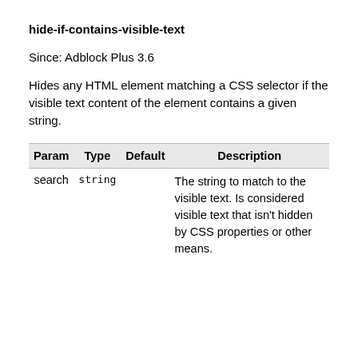hide-if-contains-visible-text
Since: Adblock Plus 3.6
Hides any HTML element matching a CSS selector if the visible text content of the element contains a given string.
| Param | Type | Default | Description |
| --- | --- | --- | --- |
| search | string |  | The string to match to the visible text. Is considered visible text that isn't hidden by CSS properties or other means. |